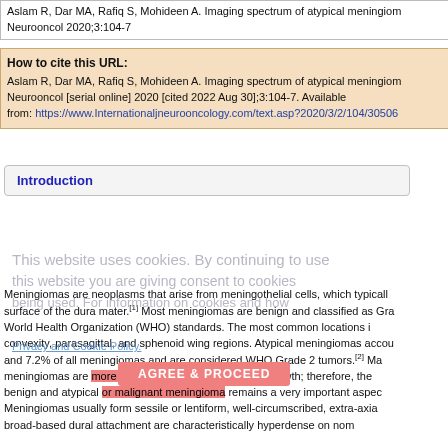Aslam R, Dar MA, Rafiq S, Mohideen A. Imaging spectrum of atypical meningioma. Int J Neurooncol 2020;3:104-7
How to cite this URL:
Aslam R, Dar MA, Rafiq S, Mohideen A. Imaging spectrum of atypical meningioma. Int J Neurooncol [serial online] 2020 [cited 2022 Aug 30];3:104-7. Available from: https://www.Internationaljneurooncology.com/text.asp?2020/3/2/104/30506
Introduction
Meningiomas are neoplasms that arise from meningothelial cells, which typically surface of the dura mater.[1] Most meningiomas are benign and classified as Gra World Health Organization (WHO) standards. The most common locations i convexity, parasagittal, and sphenoid wing regions. Atypical meningiomas accou and 7.2% of all meningiomas and are considered WHO Grade 2 tumors.[2] Ma meningiomas are more prone to recurrence and rapid growth; therefore, the benign and atypical or malignant meningioma remains a very important aspec Meningiomas usually form sessile or lentiform, well-circumscribed, extra-axia broad-based dural attachment are characteristically hyperdense on nom